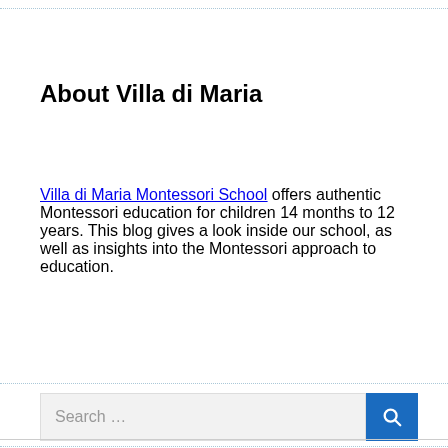About Villa di Maria
Villa di Maria Montessori School offers authentic Montessori education for children 14 months to 12 years. This blog gives a look inside our school, as well as insights into the Montessori approach to education.
[Figure (other): Search bar with text input field showing placeholder 'Search ...' and a blue search button with magnifying glass icon]